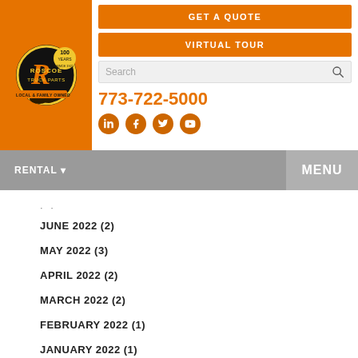[Figure (logo): Roscoe Truck Parts logo with 100 Years Since 1921 badge and Local & Family Owned text on orange background]
GET A QUOTE
VIRTUAL TOUR
773-722-5000
[Figure (other): Social media icons: LinkedIn, Facebook, Twitter, YouTube - orange circles]
RENTAL ▾
MENU
JUNE 2022 (2)
MAY 2022 (3)
APRIL 2022 (2)
MARCH 2022 (2)
FEBRUARY 2022 (1)
JANUARY 2022 (1)